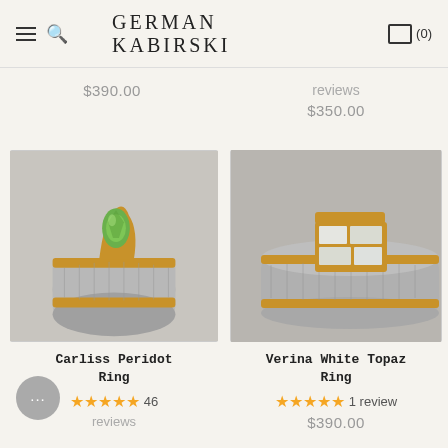GERMAN KABIRSKI
$390.00
reviews $350.00
[Figure (photo): Carliss Peridot Ring – a textured silver and gold ring with a raw green peridot stone]
[Figure (photo): Verina White Topaz Ring – a textured silver and gold ring with geometric white topaz settings]
Carliss Peridot Ring
★★★★★ 46 reviews
Verina White Topaz Ring
★★★★★ 1 review $390.00